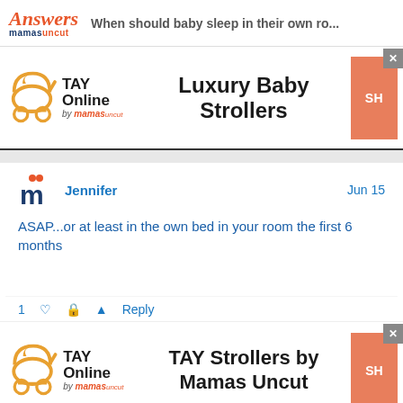Answers mamasuncut — When should baby sleep in their own ro...
[Figure (advertisement): TAY Online by mamas ad banner for Luxury Baby Strollers with shop button]
Jennifer   Jun 15
ASAP...or at least in the own bed in your room the first 6 months
[Figure (advertisement): TAY Online by mamas ad banner for TAY Strollers by Mamas Uncut with shop button]